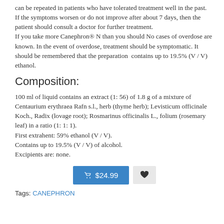can be repeated in patients who have tolerated treatment well in the past.
If the symptoms worsen or do not improve after about 7 days, then the patient should consult a doctor for further treatment.
If you take more Canephron® N than you should No cases of overdose are known. In the event of overdose, treatment should be symptomatic. It should be remembered that the preparation  contains up to 19.5% (V / V) ethanol.
Composition:
100 ml of liquid contains an extract (1: 56) of 1.8 g of a mixture of Centaurium erythraea Rafn s.l., herb (thyme herb); Levisticum officinale Koch., Radix (lovage root); Rosmarinus officinalis L., folium (rosemary leaf) in a ratio (1: 1: 1).
First extrahent: 59% ethanol (V / V).
Contains up to 19.5% (V / V) of alcohol.
Excipients are: none.
[Figure (other): Add to cart button showing $24.99 and a heart/wishlist button]
Tags: CANEPHRON